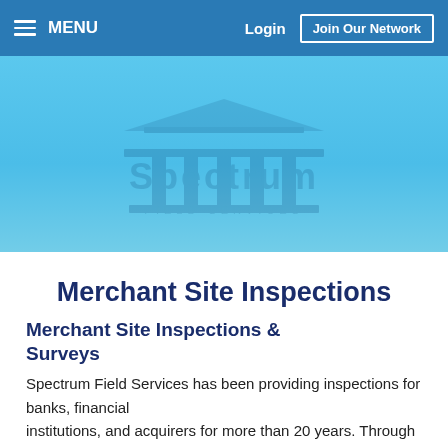MENU   Login   Join Our Network
[Figure (logo): Spectrum Field Services logo watermark on a light blue hero banner background]
Merchant Site Inspections
Merchant Site Inspections & Surveys
Spectrum Field Services has been providing inspections for banks, financial institutions, and acquirers for more than 20 years. Through our network of